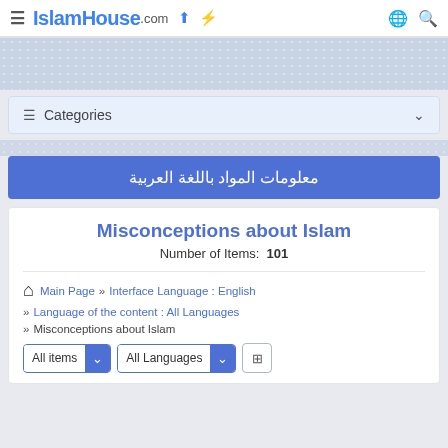IslamHouse.com — navigation bar with hamburger menu, logo, upload icon, lightning icon, globe icon, search icon
[Figure (screenshot): Decorative patterned banner area with light gray/blue dot pattern background]
Categories
معلومات المواد باللغة العربية
Misconceptions about Islam
Number of Items: 101
Main Page » Interface Language : English
» Language of the content : All Languages
» Misconceptions about Islam
All items [dropdown] All Languages [dropdown] [icon button]